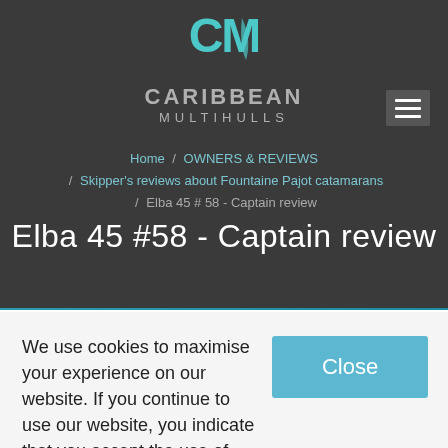[Figure (logo): Caribbean Multihulls logo with teal CM sailing icon above white/silver text reading CARIBBEAN MULTIHULLS]
Home / OWNERS & REVIEWS / Skipper's reviews about Fountaine Pajot catamarans / Elba 45 # 58 - Captain review
Elba 45 #58 - Captain review
We use cookies to maximise your experience on our website. If you continue to use our website, you indicate that you accept the use of these cookies.
Find out more.